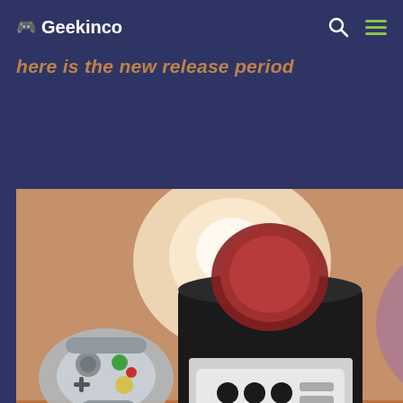🎮 Geekinco
here is the new release period
[Figure (photo): A GameCube console sitting on a wooden surface, with a GameCube controller on the left and a PS5 DualSense controller on the right. The background features warm ambient lighting with a glowing orb and purple light.]
How to modify GameCube for use with modern controllers